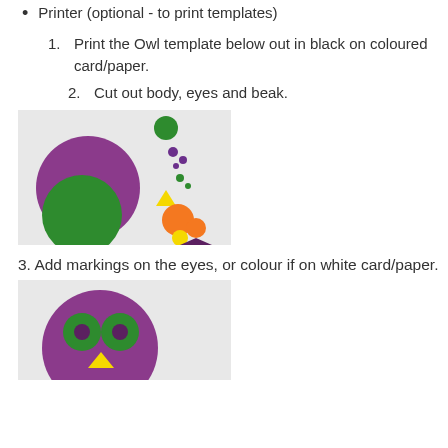Printer (optional - to print templates)
1. Print the Owl template below out in black on coloured card/paper.
2. Cut out body, eyes and beak.
[Figure (photo): Cut-out owl craft pieces laid on grey background: large purple circle (body), green circle (head), orange and yellow circles (eyes/details), yellow triangle (beak), purple triangle, small green and purple dots — all cut-out paper shapes.]
3. Add markings on the eyes, or colour if on white card/paper.
[Figure (photo): Assembled owl face using coloured paper circles: large purple circle as head, two green circles as eyes with purple dot pupils, yellow triangle beak — craft assembly in progress on grey background.]